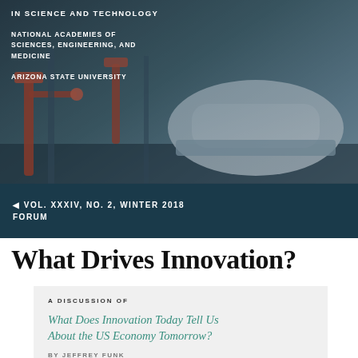[Figure (photo): Automotive factory with robotic arms assembling car bodies, dark industrial setting with teal/blue tones]
IN SCIENCE AND TECHNOLOGY
NATIONAL ACADEMIES OF SCIENCES, ENGINEERING, AND MEDICINE
ARIZONA STATE UNIVERSITY
VOL. XXXIV, NO. 2, WINTER 2018 FORUM
What Drives Innovation?
A DISCUSSION OF
What Does Innovation Today Tell Us About the US Economy Tomorrow?
BY JEFFREY FUNK